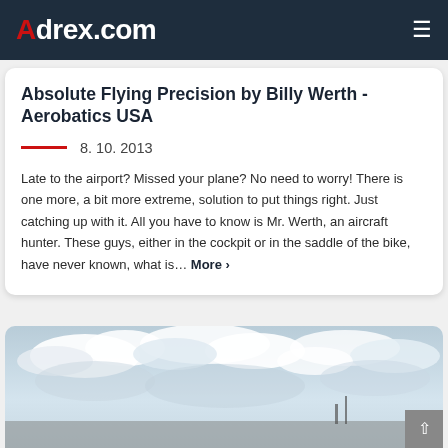Adrex.com
Absolute Flying Precision by Billy Werth - Aerobatics USA
8. 10. 2013
Late to the airport? Missed your plane? No need to worry! There is one more, a bit more extreme, solution to put things right. Just catching up with it. All you have to know is Mr. Werth, an aircraft hunter. These guys, either in the cockpit or in the saddle of the bike, have never known, what is… More ›
[Figure (photo): Outdoor sky photograph with clouds, partially visible ground/airfield structures at the bottom edge]